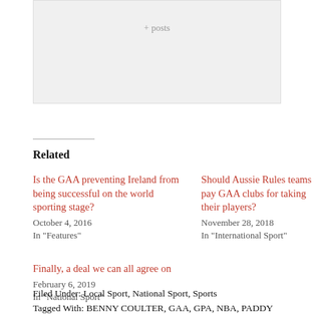+ posts
Related
Is the GAA preventing Ireland from being successful on the world sporting stage?
October 4, 2016
In "Features"
Should Aussie Rules teams pay GAA clubs for taking their players?
November 28, 2018
In "International Sport"
Finally, a deal we can all agree on
February 6, 2019
In "National Sport"
Filed Under: Local Sport, National Sport, Sports
Tagged With: BENNY COULTER, GAA, GPA, NBA, PADDY KEENAN, RORY KAVANAGH, SKY SPORTS